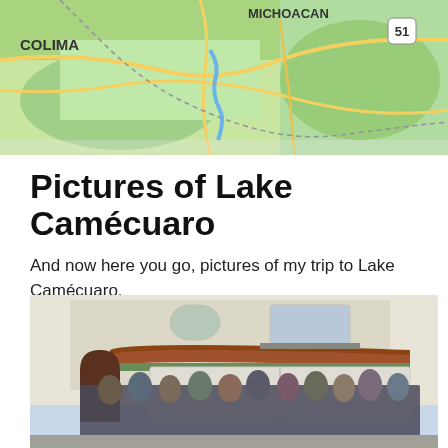[Figure (map): Partial map showing region with labels COLIMA and MICHOACAN, road networks, green terrain, and route marker 51]
Pictures of Lake Camécuaro
And now here you go, pictures of my trip to Lake Camécuaro.
[Figure (photo): Group of approximately 18 people standing in front of a two-story Mexican house with terracotta tile roof, white facade, arched windows and a garage door]